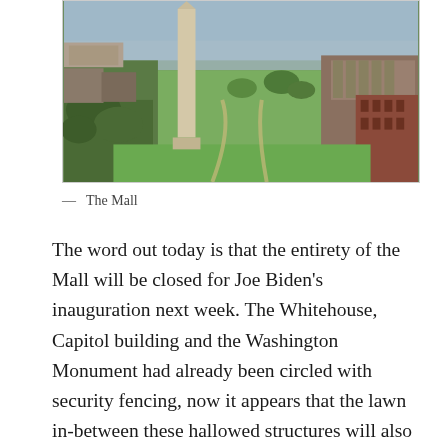[Figure (photo): Aerial photograph of the National Mall in Washington D.C., showing the Washington Monument obelisk in the foreground, with the green Mall lawn stretching into the distance, flanked by trees and government buildings.]
— The Mall
The word out today is that the entirety of the Mall will be closed for Joe Biden's inauguration next week. The Whitehouse, Capitol building and the Washington Monument had already been circled with security fencing, now it appears that the lawn in-between these hallowed structures will also be closed off to the public. This precaution is